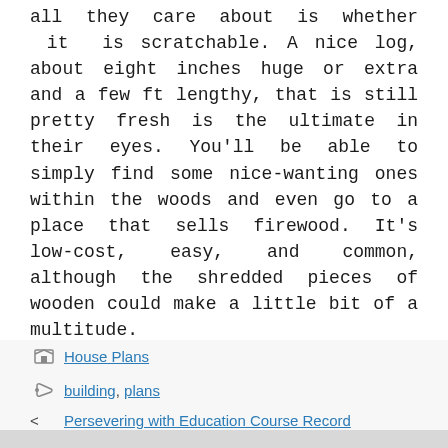all they care about is whether it is scratchable. A nice log, about eight inches huge or extra and a few ft lengthy, that is still pretty fresh is the ultimate in their eyes. You'll be able to simply find some nice-wanting ones within the woods and even go to a place that sells firewood. It's low-cost, easy, and common, although the shredded pieces of wooden could make a little bit of a multitude.
House Plans
building, plans
< Persevering with Education Course Record
> Checklist Of Disabilities